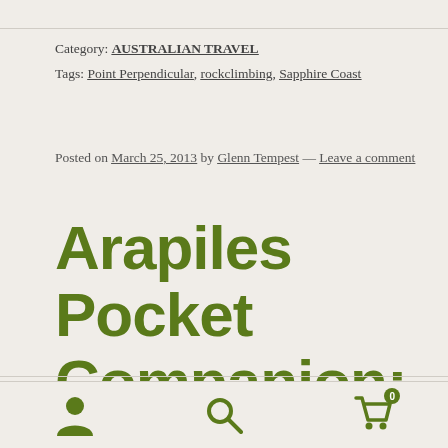Category: AUSTRALIAN TRAVEL
Tags: Point Perpendicular, rockclimbing, Sapphire Coast
Posted on March 25, 2013 by Glenn Tempest — Leave a comment
Arapiles Pocket Companion: Out Soon
[Figure (photo): Partial view of a rock face photo at the bottom of the page, partially cropped]
Navigation icons: user profile, search, shopping cart (0)